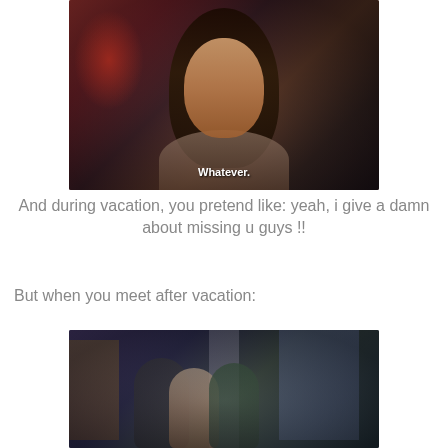[Figure (photo): Young woman with dark hair looking at camera with neutral expression, subtitle text 'Whatever.' visible at bottom of frame]
And during vacation, you pretend like: yeah, i give a damn about missing u guys !!
But when you meet after vacation:
[Figure (photo): Group of friends hugging each other in what appears to be a TV show set (Friends), with bookshelves and purple door visible in background]